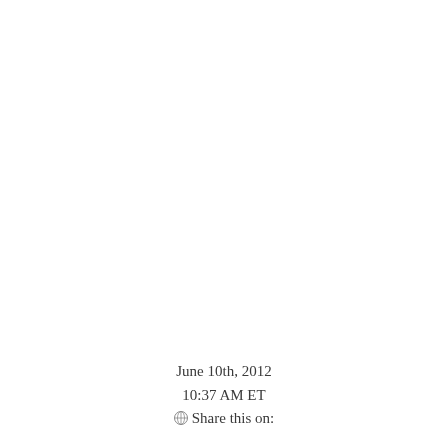June 10th, 2012
10:37 AM ET
⊗Share this on: